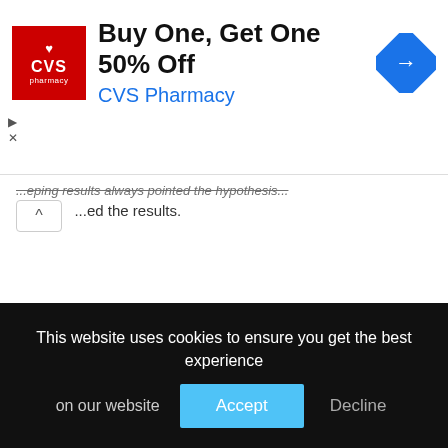[Figure (screenshot): CVS Pharmacy advertisement banner: 'Buy One, Get One 50% Off' with CVS logo on left and blue diamond navigation icon on right]
...ed the results.
8th grade science fair projects, science project, volcano
This website uses cookies to ensure you get the best experience on our website
Accept
Decline